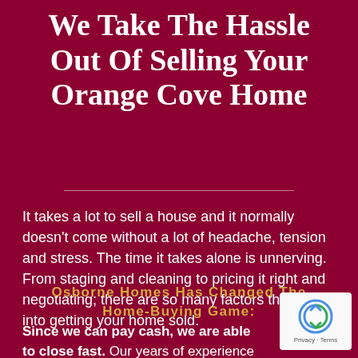We Take The Hassle Out Of Selling Your Orange Cove Home
It takes a lot to sell a house and it normally doesn't come without a lot of headache, tension and stress. The time it takes alone is unnerving. From staging and cleaning to pricing it right and negotiating; there are so many factors that go into getting your home sold.
Osborne Homes Has Changed The Home-Buying Game:
Since we can pay cash, we are able to close fast. Our years of experience and market knowledge will help you through